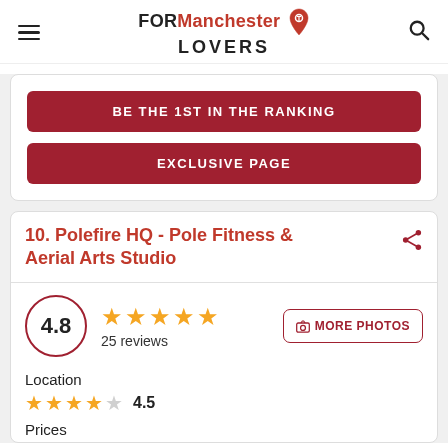FOR Manchester LOVERS
BE THE 1ST IN THE RANKING
EXCLUSIVE PAGE
10. Polefire HQ - Pole Fitness & Aerial Arts Studio
4.8 — 25 reviews — MORE PHOTOS
Location
4.5
Prices